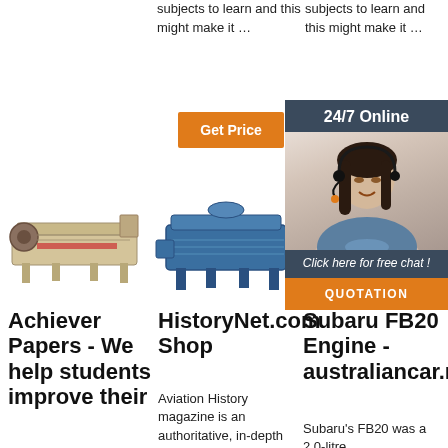subjects to learn and this might make it …
subjects to learn and this might make it …
[Figure (other): Orange 'Get Price' button]
[Figure (other): Orange 'Get' button partially visible with 24/7 Online chat overlay showing a customer service representative]
[Figure (photo): Industrial vibrating screen machine - beige/tan colored]
[Figure (photo): Industrial vibrating screen machine - blue colored]
[Figure (photo): Industrial conveyor/screen machine - metallic]
Achiever Papers - We help students improve their
HistoryNet.com Shop
Subaru FB20 Engine - australiancar.re
Aviation History magazine is an authoritative, in-depth history of world aviation
Subaru's FB20 was a 2.0-litre